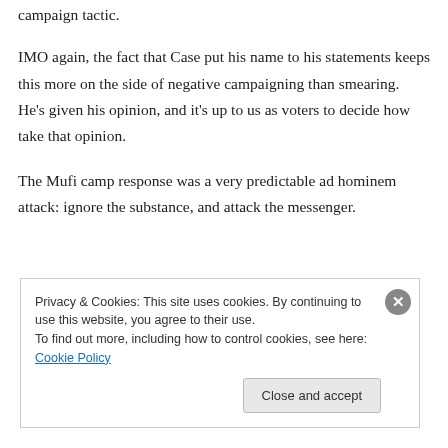campaign tactic.
IMO again, the fact that Case put his name to his statements keeps this more on the side of negative campaigning than smearing. He's given his opinion, and it's up to us as voters to decide how take that opinion.
The Mufi camp response was a very predictable ad hominem attack: ignore the substance, and attack the messenger.
Privacy & Cookies: This site uses cookies. By continuing to use this website, you agree to their use.
To find out more, including how to control cookies, see here: Cookie Policy